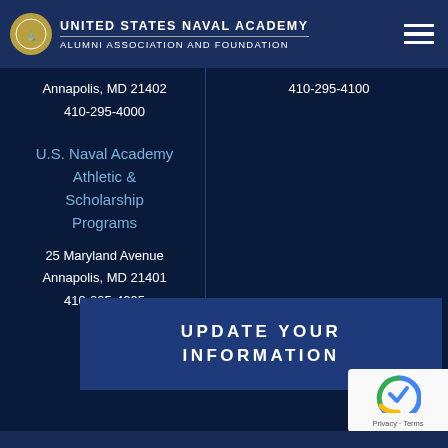United States Naval Academy Alumni Association and Foundation
Annapolis, MD 21402
410-295-4000
410-295-4100
U.S. Naval Academy Athletic & Scholarship Programs
25 Maryland Avenue
Annapolis, MD 21401
410-295-4095
UPDATE YOUR INFORMATION
[Figure (logo): reCAPTCHA badge with Privacy and Terms text]